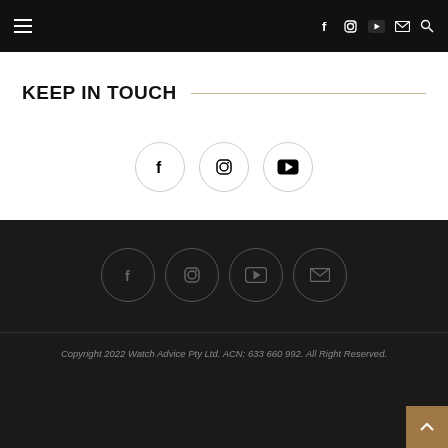Navigation bar with hamburger menu and social icons (Facebook, Instagram, YouTube, Email, Search)
KEEP IN TOUCH
[Figure (infographic): Three circular social media icon buttons: Facebook, Instagram, YouTube — white background with thin gray border]
[Figure (infographic): Footer social icon row with four dark-outlined circles: Facebook, Instagram, YouTube, Email]
Copyright 2022 Watch Advice Pty Ltd. ACN: 633 660 992. All Right Reserved.